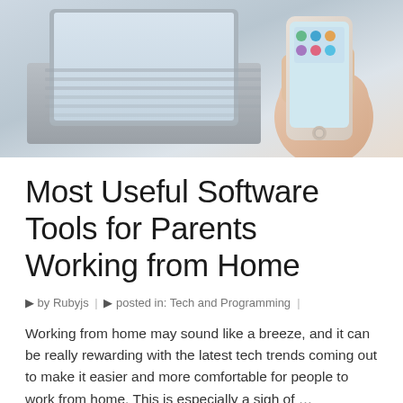[Figure (photo): A hand holding a smartphone with a laptop keyboard visible in the background, on a light desk surface.]
Most Useful Software Tools for Parents Working from Home
by Rubyjs | posted in: Tech and Programming |
Working from home may sound like a breeze, and it can be really rewarding with the latest tech trends coming out to make it easier and more comfortable for people to work from home. This is especially a sigh of …
Continued